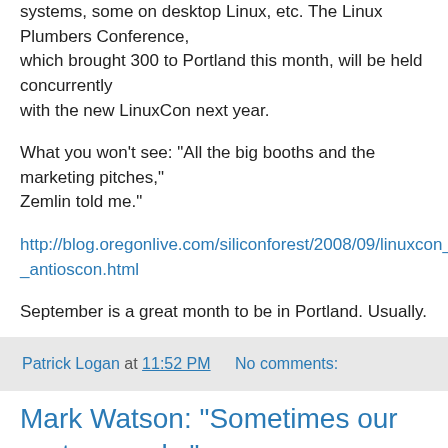systems, some on desktop Linux, etc. The Linux Plumbers Conference,
which brought 300 to Portland this month, will be held concurrently
with the new LinuxCon next year.
What you won't see: "All the big booths and the marketing pitches,"
Zemlin told me."
http://blog.oregonlive.com/siliconforest/2008/09/linuxcon_the_antioscon.html
September is a great month to be in Portland. Usually.
Patrick Logan at 11:52 PM   No comments:
Mark Watson: "Sometimes our system works"
What he said. The k...